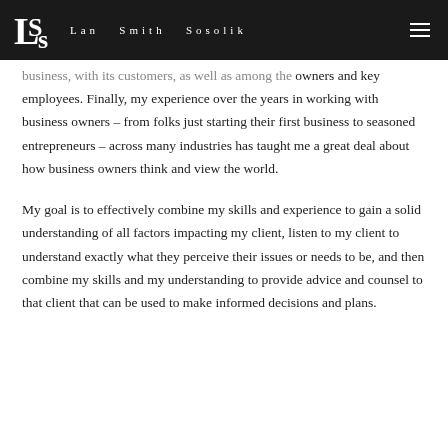LSS Lan Smith Sosolik
business, with its customers, as well as among the owners and key employees. Finally, my experience over the years in working with business owners – from folks just starting their first business to seasoned entrepreneurs – across many industries has taught me a great deal about how business owners think and view the world.
My goal is to effectively combine my skills and experience to gain a solid understanding of all factors impacting my client, listen to my client to understand exactly what they perceive their issues or needs to be, and then combine my skills and my understanding to provide advice and counsel to that client that can be used to make informed decisions and plans.